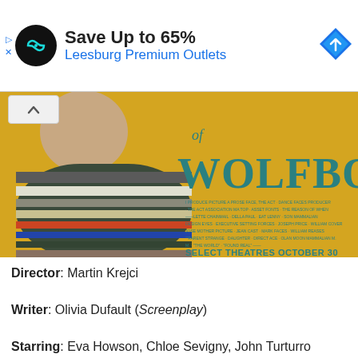[Figure (advertisement): Ad banner: circular black logo with infinity-like symbol, text 'Save Up to 65%' in bold and 'Leesburg Premium Outlets' in blue, blue diamond arrow icon on right, play triangle and X icons on left edge]
[Figure (photo): Movie poster for 'Wolfboy' showing a figure in a striped sweater from behind on yellow/gold background with teal decorative text 'of WOLFBOY' and credits text, 'SELECT THEATRES OCTOBER 30' at bottom in teal bold text]
Director: Martin Krejci
Writer: Olivia Dufault (Screenplay)
Starring: Eva Howson, Chloe Sevigny, John Turturro